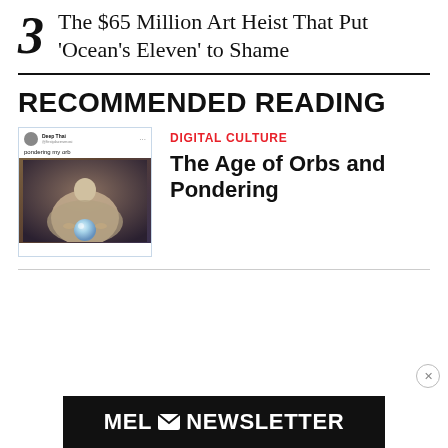The $65 Million Art Heist That Put ‘Ocean’s Eleven’ to Shame
RECOMMENDED READING
[Figure (screenshot): Screenshot of a tweet showing 'pondering my orb' with an image of a robed figure holding a glowing orb]
DIGITAL CULTURE
The Age of Orbs and Pondering
[Figure (other): MEL Newsletter advertisement banner with envelope icon]